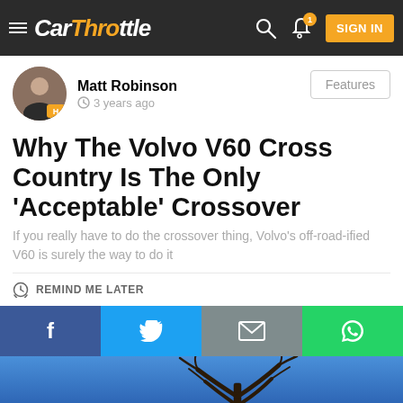CarThrottle — SIGN IN
Matt Robinson · 3 years ago · Features
Why The Volvo V60 Cross Country Is The Only 'Acceptable' Crossover
If you really have to do the crossover thing, Volvo's off-road-ified V60 is surely the way to do it
REMIND ME LATER
[Figure (infographic): Social share bar with Facebook, Twitter, Email, and WhatsApp buttons]
[Figure (photo): Outdoor photo of a bare tree against a blue sky, bottom of page]